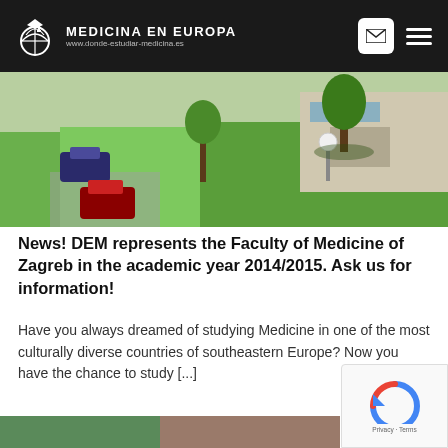MEDICINA EN EUROPA www.donde-estudiar-medicina.es
[Figure (photo): Aerial or elevated view of a green campus lawn with parked cars and trees, outdoor scene]
News! DEM represents the Faculty of Medicine of Zagreb in the academic year 2014/2015. Ask us for information!
Have you always dreamed of studying Medicine in one of the most culturally diverse countries of southeastern Europe? Now you have the chance to study [...]
»Read more
24 January, 2014
[Figure (photo): Bottom partial photo strip showing beginning of next article image]